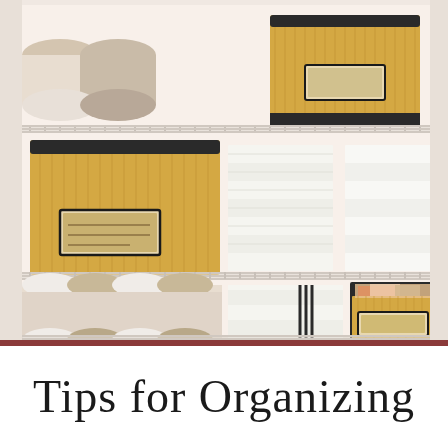[Figure (photo): Organized linen closet with wire shelves containing neatly rolled and folded towels in white, cream, and brown/taupe colors, along with yellow/gold fabric storage boxes with black trim and label windows. Three shelves visible with the bottom shelf containing mixed towels, middle shelf holding a large yellow storage box plus stacked white towels, and top shelf with rolled towels and yellow storage boxes.]
Tips for Organizing